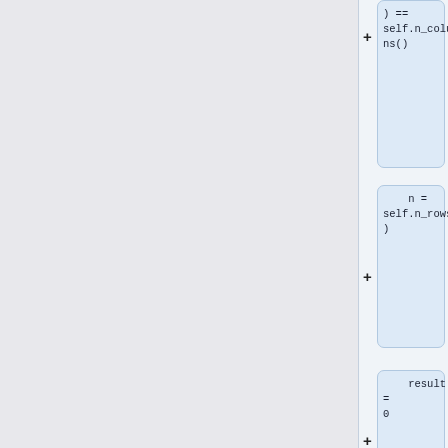[Figure (screenshot): Code diff view showing Python code blocks with addition markers (+). Each block shows a snippet of code with light blue background. Blocks contain: ') == self.n_columns()', 'n = self.n_rows()', 'result = 0', 'for i in xrange(n):', 'result += self.elems[i*n+i]', 'return result', and a partial block at the bottom.]